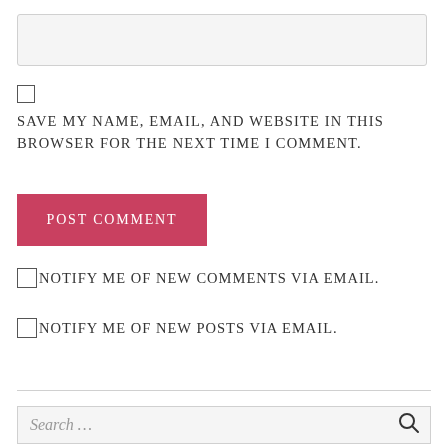[Figure (screenshot): Text input box (empty, light gray background)]
[Figure (screenshot): Checkbox (unchecked, small square)]
SAVE MY NAME, EMAIL, AND WEBSITE IN THIS BROWSER FOR THE NEXT TIME I COMMENT.
[Figure (screenshot): POST COMMENT button (red/pink background, white uppercase text)]
NOTIFY ME OF NEW COMMENTS VIA EMAIL.
NOTIFY ME OF NEW POSTS VIA EMAIL.
[Figure (screenshot): Search input box with placeholder text 'Search...' and search icon]